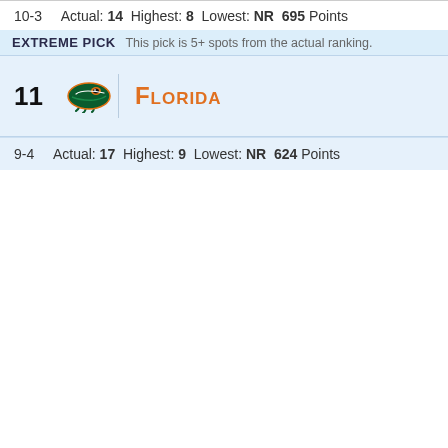10-3   Actual: 14  Highest: 8  Lowest: NR  695 Points
EXTREME PICK  This pick is 5+ spots from the actual ranking.
11   Florida
9-4   Actual: 17  Highest: 9  Lowest: NR  624 Points